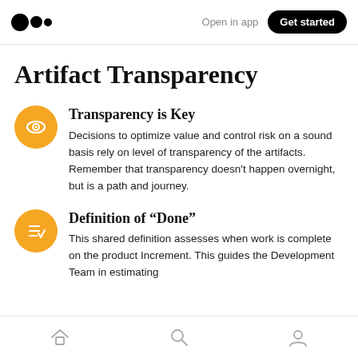Open in app | Get started
Artifact Transparency
Transparency is Key
Decisions to optimize value and control risk on a sound basis rely on level of transparency of the artifacts. Remember that transparency doesn’t happen overnight, but is a path and journey.
Definition of “Done”
This shared definition assesses when work is complete on the product Increment. This guides the Development Team in estimating
Home | Search | Profile